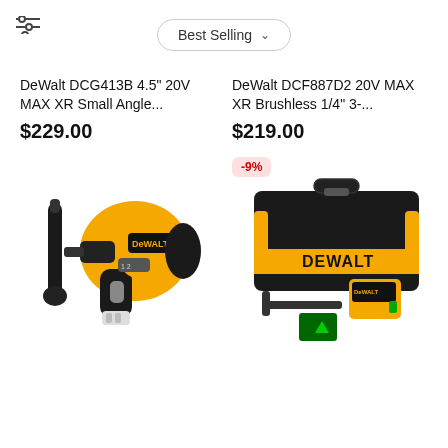Best Selling
DeWalt DCG413B 4.5" 20V MAX XR Small Angle...
$229.00
DeWalt DCF887D2 20V MAX XR Brushless 1/4" 3-...
$219.00
[Figure (photo): DeWalt yellow and black cordless drill/hammer drill with side handle attachment]
[Figure (photo): DeWalt laser level kit in black carrying case with green laser target card and mounting bracket, with -9% badge]